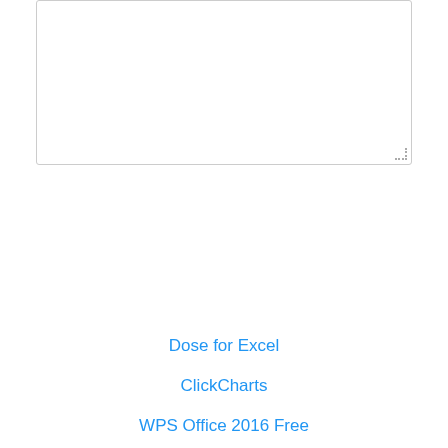[Figure (screenshot): Empty textarea input box with resize handle in bottom-right corner]
Post comment
Dose for Excel
ClickCharts
WPS Office 2016 Free
SmartVizor Variable Data Printing Software
yWriter